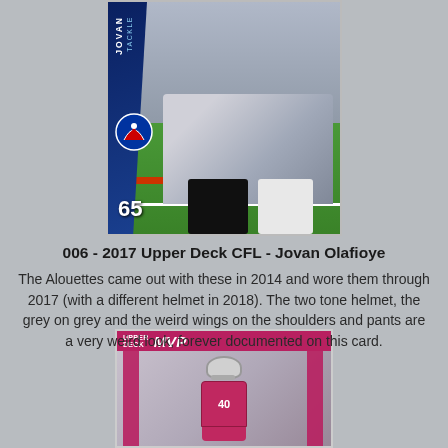[Figure (photo): Trading card: 2017 Upper Deck CFL Jovan Olafioye, Montreal Alouettes tackle, jersey number 65. Card shows player legs on green football field with blue diagonal stripe and Alouettes logo.]
006 - 2017 Upper Deck CFL - Jovan Olafioye
The Alouettes came out with these in 2014 and wore them through 2017 (with a different helmet in 2018). The two tone helmet, the grey on grey and the weird wings on the shoulders and pants are a very weird look, forever documented on this card.
[Figure (photo): Bottom portion of another trading card: Upper Deck MVP series showing a football player wearing a magenta/crimson uniform, number 40, with helmet on.]